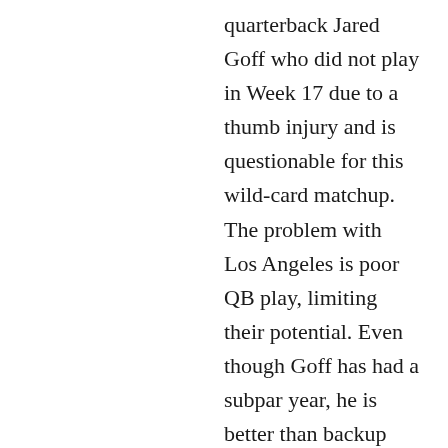quarterback Jared Goff who did not play in Week 17 due to a thumb injury and is questionable for this wild-card matchup. The problem with Los Angeles is poor QB play, limiting their potential. Even though Goff has had a subpar year, he is better than backup John Wolford and gives them the best chance to win. Due to the inconsistencies at quarterback for the Rams, I am going to go with the Seahawks here. Final Score: 20-14 Seahawks